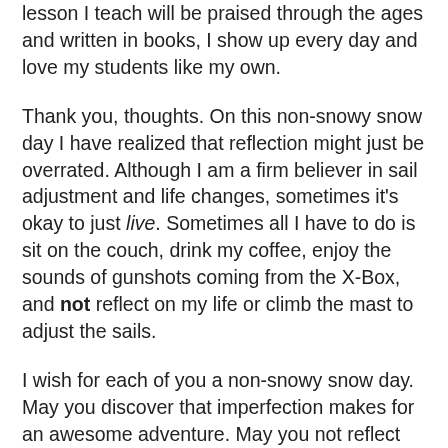lesson I teach will be praised through the ages and written in books, I show up every day and love my students like my own.
Thank you, thoughts. On this non-snowy snow day I have realized that reflection might just be overrated. Although I am a firm believer in sail adjustment and life changes, sometimes it's okay to just live. Sometimes all I have to do is sit on the couch, drink my coffee, enjoy the sounds of gunshots coming from the X-Box, and not reflect on my life or climb the mast to adjust the sails.
I wish for each of you a non-snowy snow day. May you discover that imperfection makes for an awesome adventure. May you not reflect on your